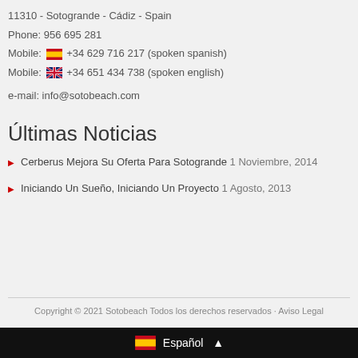11310 - Sotogrande - Cádiz - Spain
Phone: 956 695 281
Mobile: 🇪🇸 +34 629 716 217 (spoken spanish)
Mobile: 🇬🇧 +34 651 434 738 (spoken english)
e-mail: info@sotobeach.com
Últimas Noticias
Cerberus Mejora Su Oferta Para Sotogrande 1 Noviembre, 2014
Iniciando Un Sueño, Iniciando Un Proyecto 1 Agosto, 2013
Copyright © 2021 Sotobeach Todos los derechos reservados · Aviso Legal
Español ▲